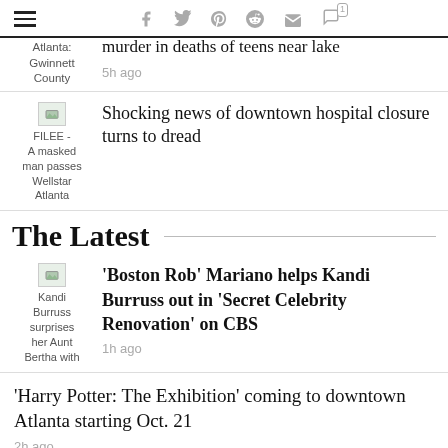[hamburger menu] [social icons: facebook, twitter, pinterest, reddit, mail, comment]
murder in deaths of teens near lake
Atlanta: Gwinnett County
5h ago
[Figure (photo): FILEE - A masked man passes Wellstar Atlanta]
Shocking news of downtown hospital closure turns to dread
The Latest
[Figure (photo): Kandi Burruss surprises her Aunt Bertha with]
'Boston Rob' Mariano helps Kandi Burruss out in 'Secret Celebrity Renovation' on CBS
1h ago
'Harry Potter: The Exhibition' coming to downtown Atlanta starting Oct. 21
2h ago